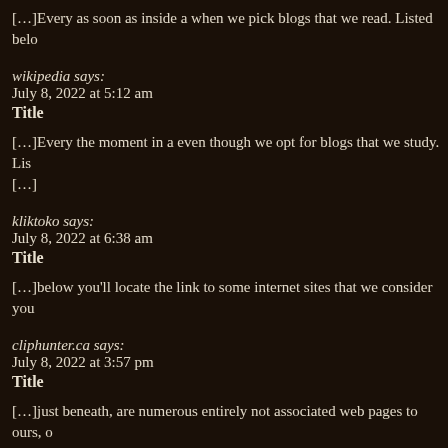[…]Every as soon as inside a when we pick blogs that we read. Listed belo
wikipedia says:
July 8, 2022 at 5:12 am
Title
[…]Every the moment in a even though we opt for blogs that we study. Lis […]
kliktoko says:
July 8, 2022 at 6:38 am
Title
[…]below you'll locate the link to some internet sites that we consider you
cliphunter.ca says:
July 8, 2022 at 3:57 pm
Title
[…]just beneath, are numerous entirely not associated web pages to ours, o
MBBS in Georgia says:
July 9, 2022 at 3:49 pm
Title
[…]very couple of web sites that come about to be detailed beneath, from o checking out[…]